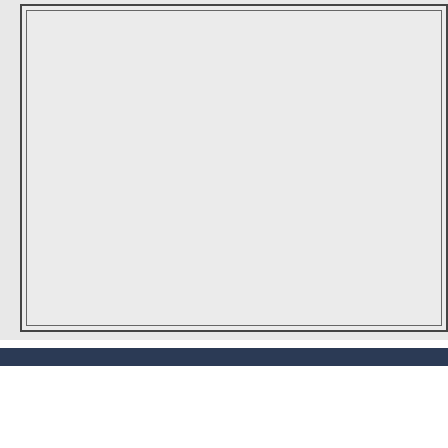[Figure (other): Gray bordered page area with double border frame — outer dark border and inner lighter border on a gray background]
Date Modified: 2020-04-30 12:47:16
Top of Page